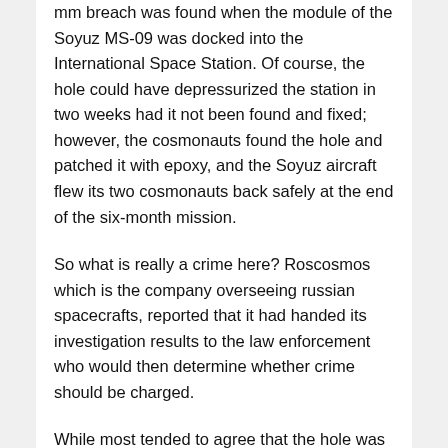mm breach was found when the module of the Soyuz MS-09 was docked into the International Space Station. Of course, the hole could have depressurized the station in two weeks had it not been found and fixed; however, the cosmonauts found the hole and patched it with epoxy, and the Soyuz aircraft flew its two cosmonauts back safely at the end of the six-month mission.
So what is really a crime here? Roscosmos which is the company overseeing russian spacecrafts, reported that it had handed its investigation results to the law enforcement who would then determine whether crime should be charged.
While most tended to agree that the hole was caused by manufacturing or testing defect, the Russian government began to entertain a rumor that a disgruntled NASA astronaut drilled the hole. Since the completion of the investigation, the Russian media has changed its tune, saying the hole was drilled after a romance had gone sour. NASA has fought back against both of these seemingly ridiculous accusations.